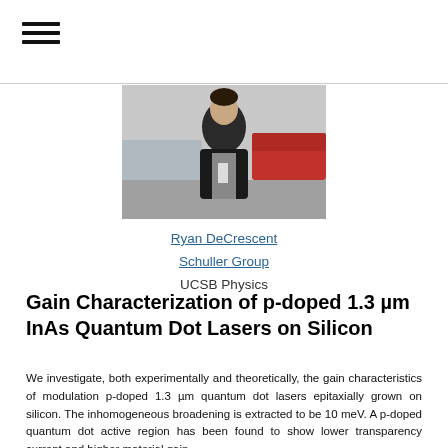[Figure (photo): Photo of a person outdoors, wearing a dark jacket, with parked cars in the background.]
Ryan DeCrescent
Schuller Group
UCSB Physics
Gain Characterization of p-doped 1.3 µm InAs Quantum Dot Lasers on Silicon
We investigate, both experimentally and theoretically, the gain characteristics of modulation p-doped 1.3 µm quantum dot lasers epitaxially grown on silicon. The inhomogeneous broadening is extracted to be 10 meV. A p-doped quantum dot active region has been found to show lower transparency current and higher material gain.